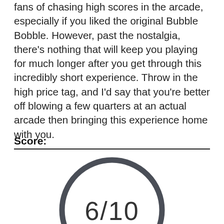fans of chasing high scores in the arcade, especially if you liked the original Bubble Bobble. However, past the nostalgia, there's nothing that will keep you playing for much longer after you get through this incredibly short experience. Throw in the high price tag, and I'd say that you're better off blowing a few quarters at an actual arcade then bringing this experience home with you.
Score:
[Figure (infographic): A circular score display showing 6/10 in large text inside a dark grey outlined circle, partially cropped at the bottom of the page.]